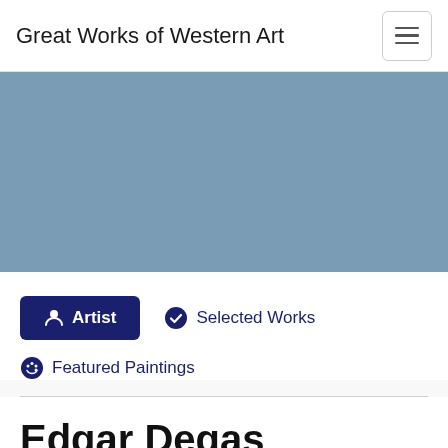Great Works of Western Art
[Figure (illustration): Blue-grey hero image placeholder banner]
Artist
Selected Works
Featured Paintings
Edgar Degas